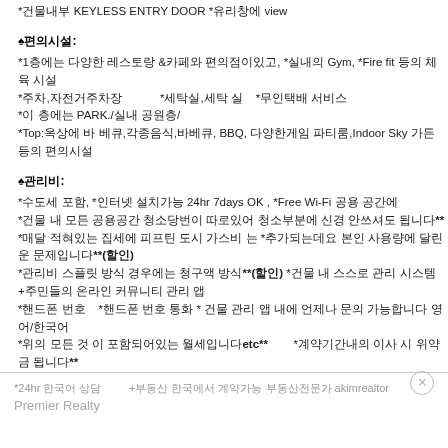*건물내부 KEYLESS ENTRY DOOR *유리창에 view
♠편의시설:
*1층에는 다양한 레스토랑 &카페와 편의점이있고, *실내의 Gym,  *Fire fit 등의 체육 시설
*주차,자전거주차장           *세탁실,세탁 실    *무인택배 서비스
*이 층에는 PARK./실내 공원층/
*Top:옥상에 바 베큐,각종음식,바베큐, BBQ, 다양한게임 파티룸,Indoor Sky 가든 등의 편의시설
♠관리비:
*수도세 포함,  *인터넷 설치가능 24hr 7days OK ,  *Free Wi-Fi 공용 공간에
*건물 내 모든 공용공간 청소당번이 따로있어 청소부분에 신경 안쓰셔도 됩니다**
*매달 적혀있는 집세에 피프틴 도시 가스비 는  *추가되는데요 본인 사용량에 달린운 문제입니다**(할인)
*관리비 스플릿 방식 경우에는 청구액 방식**(할인)  *건물 내 스스로 관리 시스템  +주민들의 온라인 커뮤니티 관리 앱
*핸드폰 번호    *핸드폰 번호 통화  * 건물 관리 앱 내에 언제나 문의 가능합니다 영어/한국어
*위의 모든 것 이 포함되어있는 월세입니다etc**        *계약기간내의 이사 시 위약금 됩니다**
*처음 한 달 분의 임대료 보증금이      *지금이 분양가 이 최저가격으로 분양255 ....*mls nikode
♠외국 분들도환영♠원하는 층수♠건물 관리가 정말 잘되어있고 건물 내에 각종 편의 시설 및 공원 등으로 인한 삶,생활 편의 수준이 높고 임대 후 후회 없이 생활 하실 수 있다고 확신합니다.!
*24hr 한국어 상담        +부동산 한국에서 계약가능 부동산전문가 akimrealtor
Premier Realty